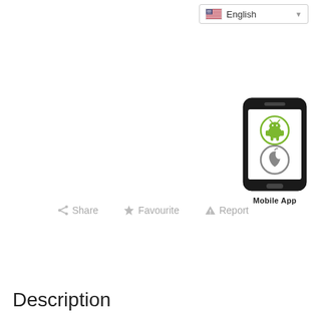English
[Figure (illustration): Mobile App illustration showing a smartphone with Android and Apple logo icons on screen, labeled 'Mobile App']
Share   Favourite   Report
Description